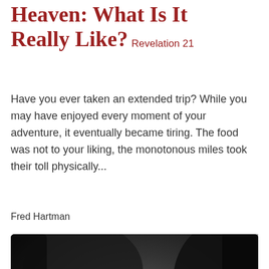Heaven: What Is It Really Like? Revelation 21
Have you ever taken an extended trip? While you may have enjoyed every moment of your adventure, it eventually became tiring. The food was not to your liking, the monotonous miles took their toll physically...
Fred Hartman
[Figure (photo): Black and white photograph of an elderly person with hands clasped together in prayer, head bowed, fingers interlaced, dramatic dark background.]